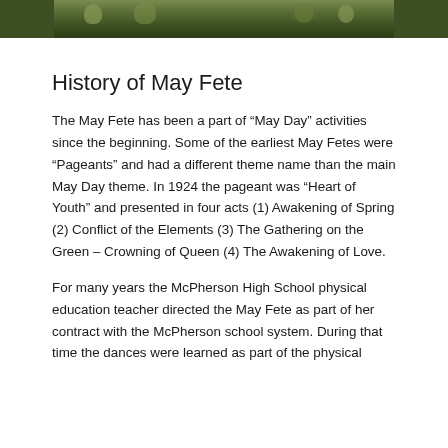[Figure (photo): A cropped outdoor photo showing people on grass, partial view at top of page]
History of May Fete
The May Fete has been a part of “May Day” activities since the beginning. Some of the earliest May Fetes were “Pageants” and had a different theme name than the main May Day theme. In 1924 the pageant was “Heart of Youth” and presented in four acts (1) Awakening of Spring (2) Conflict of the Elements (3) The Gathering on the Green – Crowning of Queen (4) The Awakening of Love.
For many years the McPherson High School physical education teacher directed the May Fete as part of her contract with the McPherson school system. During that time the dances were learned as part of the physical